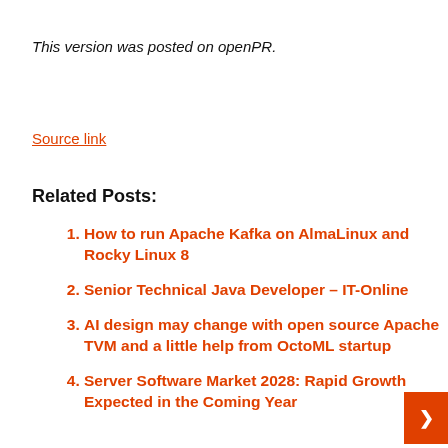This version was posted on openPR.
Source link
Related Posts:
How to run Apache Kafka on AlmaLinux and Rocky Linux 8
Senior Technical Java Developer – IT-Online
AI design may change with open source Apache TVM and a little help from OctoML startup
Server Software Market 2028: Rapid Growth Expected in the Coming Year